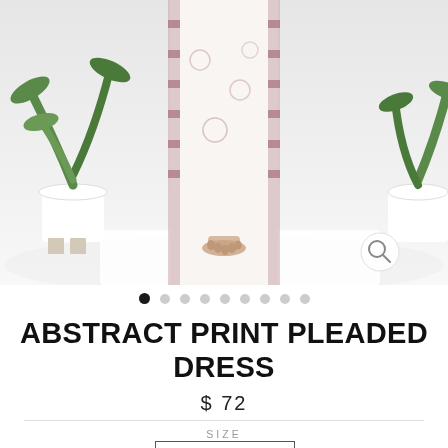[Figure (photo): Product photo of an abstract print pleated dress shown from waist down, model standing on white fabric, with potted green plants on either side, white background. A magnifying glass icon is visible in the bottom right of the image.]
• • • • • • • • •  (image carousel dots, first active)
ABSTRACT PRINT PLEADED DRESS
$ 72
SIZE